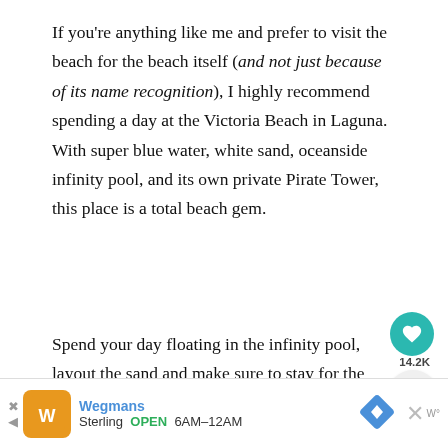If you're anything like me and prefer to visit the beach for the beach itself (and not just because of its name recognition), I highly recommend spending a day at the Victoria Beach in Laguna. With super blue water, white sand, oceanside infinity pool, and its own private Pirate Tower, this place is a total beach gem.
Spend your day floating in the infinity pool, layout the sand and make sure to stay for the sunset to watch the sky turn into various hues of purples.
[Figure (screenshot): Advertisement banner for Wegmans Sterling, showing store logo, brand name in blue, open hours 6AM-12AM, navigation icon, and close button]